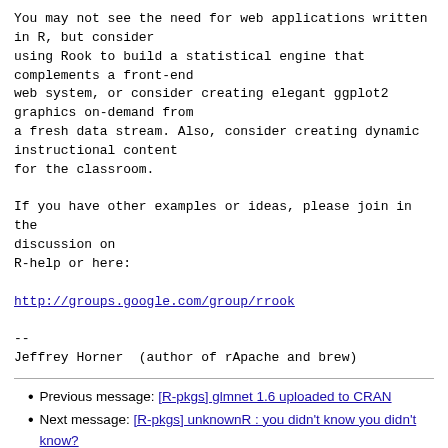You may not see the need for web applications written
in R, but consider
using Rook to build a statistical engine that
complements a front-end
web system, or consider creating elegant ggplot2
graphics on-demand from
a fresh data stream. Also, consider creating dynamic
instructional content
for the classroom.

If you have other examples or ideas, please join in the
discussion on
R-help or here:

http://groups.google.com/group/rrook

--
Jeffrey Horner  (author of rApache and brew)
Previous message: [R-pkgs] glmnet 1.6 uploaded to CRAN
Next message: [R-pkgs] unknownR : you didn't know you didn't know?
Messages sorted by: [ date ] [ thread ] [ subject ] [ author ]
More information about the R-packages mailing list